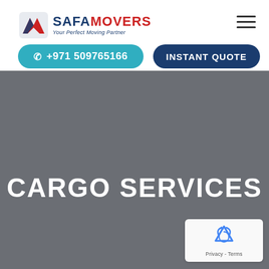[Figure (logo): Safa Movers logo with red and blue shield/arrow icon, brand name SAFAMOVERS in dark blue and red, tagline Your Perfect Moving Partner in italic blue]
☰ (hamburger menu icon)
📞 +971 509765166
INSTANT QUOTE
CARGO SERVICES
[Figure (logo): Google reCAPTCHA badge with recycling-arrow logo and Privacy - Terms text]